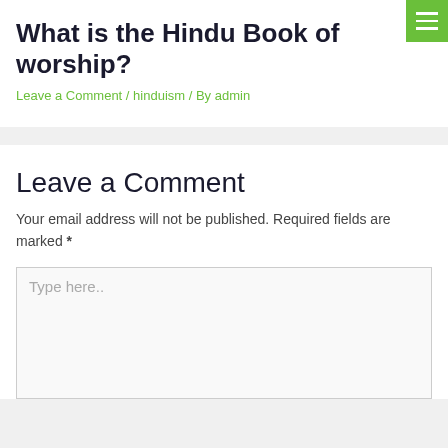What is the Hindu Book of worship?
Leave a Comment / hinduism / By admin
Leave a Comment
Your email address will not be published. Required fields are marked *
Type here..